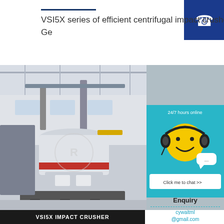VSI5X series of efficient centrifugal impact crusher, introducing the advanced Ge
[Figure (photo): Industrial VSI5X centrifugal impact crusher machine in a factory/warehouse setting. The machine is large, white and grey with a red accent band, on a metal base frame. Factory structure visible in background.]
[Figure (infographic): 24/7 hours online chat widget with teal background, smiley face with headphones, and 'Click me to chat >>' button]
Enquiry
cywaitml@gmail.com
VSI5X IMPACT CRUSHER